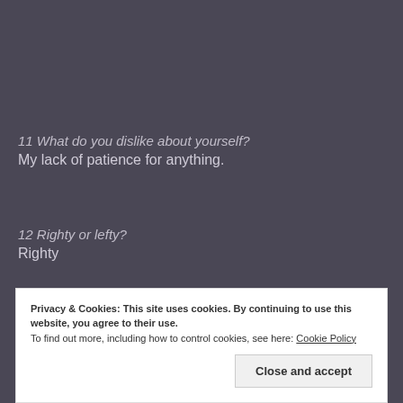11 What do you dislike about yourself?
My lack of patience for anything.
12 Righty or lefty?
Righty
Privacy & Cookies: This site uses cookies. By continuing to use this website, you agree to their use. To find out more, including how to control cookies, see here: Cookie Policy
Close and accept
Energy Drink.